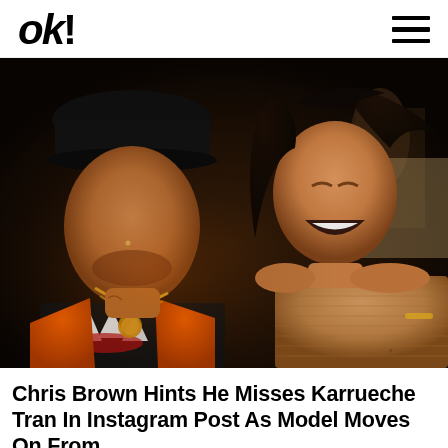OK!
[Figure (photo): Split image: left side shows Chris Brown wearing a black shark-print hoodie, black cap, orange jacket, and gold chain necklace; right side shows Karrueche Tran laughing in a tan ribbed top with her hair flying. Dark background.]
Chris Brown Hints He Misses Karrueche Tran In Instagram Post As Model Moves On From...